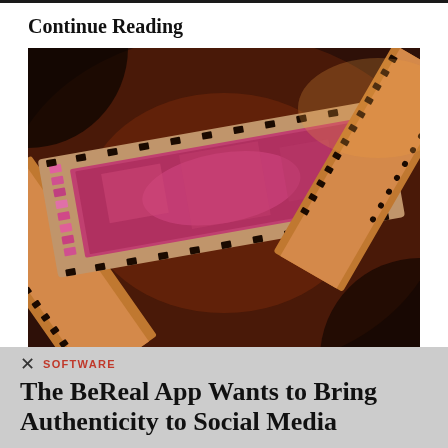Continue Reading
[Figure (photo): Close-up photograph of photographic film strips curled and overlapping, showing pink/magenta colored film negatives with sprocket holes visible along the edges, against a dark brown background with warm lighting.]
SOFTWARE
The BeReal App Wants to Bring Authenticity to Social Media